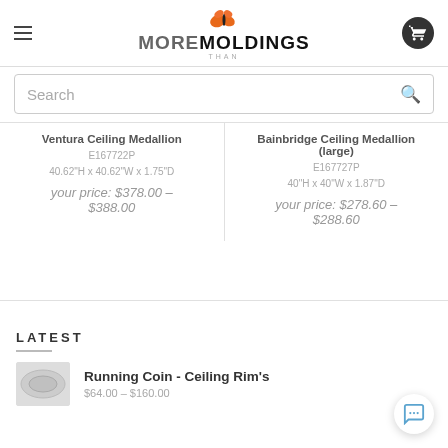More Than Moldings
Search
Ventura Ceiling Medallion
E167722P
40.62"H x 40.62"W x 1.75"D
your price: $378.00 – $388.00
Bainbridge Ceiling Medallion (large)
E167727P
40"H x 40"W x 1.87"D
your price: $278.60 – $288.60
LATEST
Running Coin - Ceiling Rim's
$64.00 – $160.00